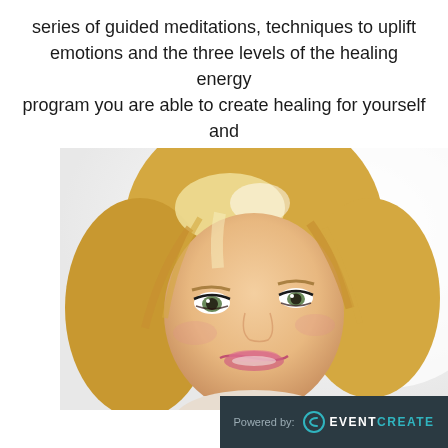series of guided meditations, techniques to uplift emotions and the three levels of the healing energy program you are able to create healing for yourself and teach others should this be your path.
[Figure (photo): Close-up portrait photo of a smiling blonde woman with green eyes against a white background, wearing a patterned top.]
Powered by: EVENTCREATE